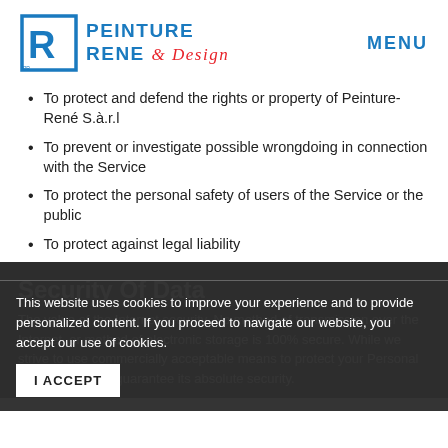[Figure (logo): Peinture René & Design logo with blue R icon and text]
To protect and defend the rights or property of Peinture-René S.à.r.l
To prevent or investigate possible wrongdoing in connection with the Service
To protect the personal safety of users of the Service or the public
To protect against legal liability
Security Of Data
The value of the security of data that is absolute security.
This website uses cookies to improve your experience and to provide personalized content. If you proceed to navigate our website, you accept our use of cookies.